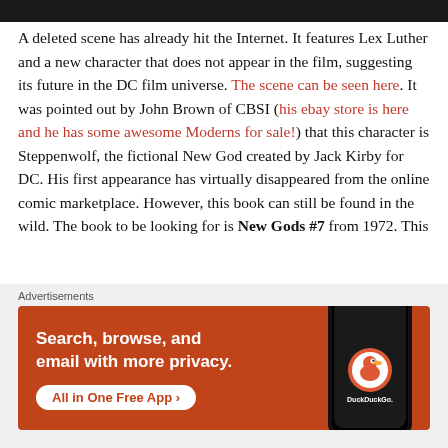[Figure (screenshot): Dark top navigation bar of a website, partially visible at top of page]
A deleted scene has already hit the Internet. It features Lex Luther and a new character that does not appear in the film, suggesting its future in the DC film universe. The scene can be seen here. It was pointed out by John Brown of CBSI (his ebay store is here and he has some awesome Moderns for sale!) that this character is Steppenwolf, the fictional New God created by Jack Kirby for DC. His first appearance has virtually disappeared from the online comic marketplace. However, this book can still be found in the wild. The book to be looking for is New Gods #7 from 1972. This
[Figure (screenshot): DuckDuckGo advertisement banner: orange background with white text 'Search, browse, and email with more privacy. All in One Free App' and DuckDuckGo logo with phone mockup]